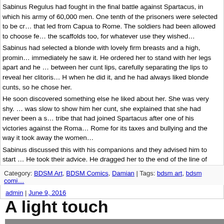Sabinus Regulus had fought in the final battle against Spartacus, in which his army of 60,000 men. One tenth of the prisoners were selected to be crucified along the road that led from Capua to Rome. The soldiers had been allowed to choose female prisoners from the scaffolds too, for whatever use they wished… Sabinus had selected a blonde with lovely firm breasts and a high, prominent mons… immediately he saw it. He ordered her to stand with her legs apart and he ran his finger between her cunt lips, carefully separating the lips to reveal her clitoris… He could tell she liked it when he did it, and he had always liked blonde cunts, so he chose her. He soon discovered something else he liked about her. She was very shy. when she was slow to show him her cunt, she explained that she had never been a slave. She was from a tribe that had joined Spartacus after one of his victories against the Romans. They had resented Rome for its taxes and bullying and the way it took away the women… Sabinus discussed this with his companions and they advised him to start her training at once. He took their advice. He dragged her to the end of the line of crucifixions, where the scaffolds were, and he tied her to one of the scaffolds for displaying female prisoners.
Category: BDSM Art, BDSM Comics, Damian | Tags: bdsm art, bdsm comics
admin | June 9, 2016
A light touch